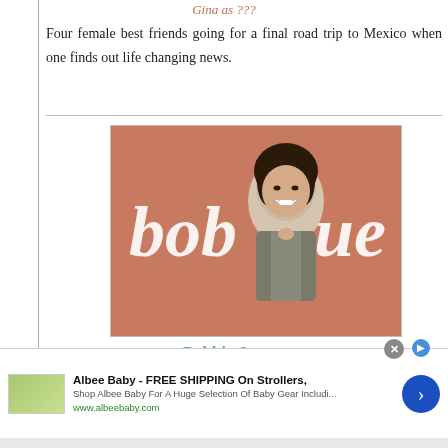Gina as ???
Four female best friends going for a final road trip to Mexico when one finds out life changing news.
[Figure (photo): Promotional image for 'Bobbie Sue' - a woman smiling against a salmon/terra cotta background with the script text 'bobbie sue' overlaid in white.]
Bobbie Sue
Gina as Bobbie Sue
A top law firm looks to their premiere ambulance chasing agent to represent their powerful client in his sexual